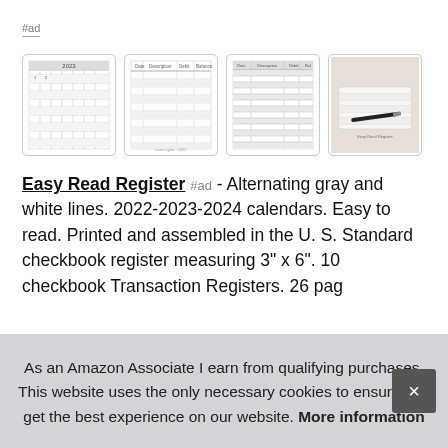#ad
[Figure (screenshot): Four thumbnail images of a checkbook register product: calendar pages, blank register forms, printed ledger lines, and a photo of an open register with a pen]
Easy Read Register #ad - Alternating gray and white lines. 2022-2023-2024 calendars. Easy to read. Printed and assembled in the U. S. Standard checkbook register measuring 3" x 6". 10 checkbook Transaction Registers. 26 pag
As an Amazon Associate I earn from qualifying purchases. This website uses the only necessary cookies to ensure you get the best experience on our website. More information